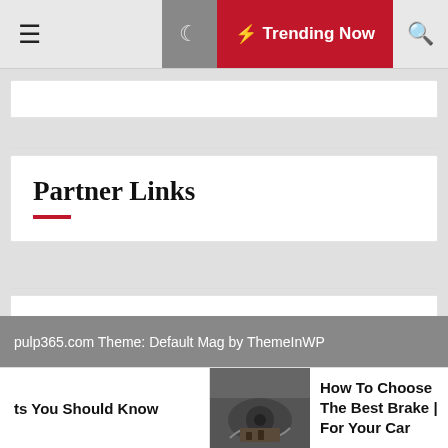☰  🌙  ⚡ Trending Now  🔍
Partner Links
Visit Now
Travel
pulp365.com Theme: Default Mag by ThemeInWP
ts You Should Know
How To Choose The Best Brake | For Your Car